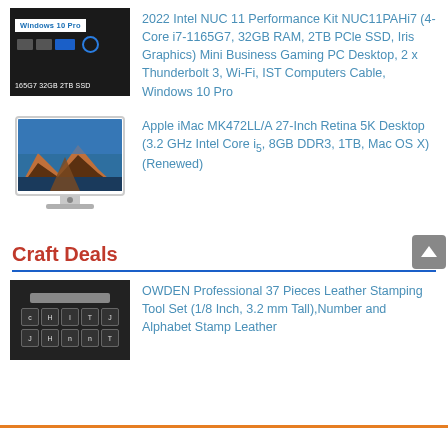[Figure (photo): Intel NUC 11 Performance Kit mini PC with Windows 10 Pro badge, USB ports, and power button on dark chassis, labeled '165G7 32GB 2TB SSD']
2022 Intel NUC 11 Performance Kit NUC11PAHi7 (4-Core i7-1165G7, 32GB RAM, 2TB PCle SSD, Iris Graphics) Mini Business Gaming PC Desktop, 2 x Thunderbolt 3, Wi-Fi, IST Computers Cable, Windows 10 Pro
[Figure (photo): Apple iMac with colorful mountain landscape wallpaper, 27-inch display on silver stand]
Apple iMac MK472LL/A 27-Inch Retina 5K Desktop (3.2 GHz Intel Core i5, 8GB DDR3, 1TB, Mac OS X) (Renewed)
Craft Deals
[Figure (photo): OWDEN professional leather stamping tool set showing rows of metal letter and number stamps on dark background]
OWDEN Professional 37 Pieces Leather Stamping Tool Set (1/8 Inch, 3.2 mm Tall),Number and Alphabet Stamp Leather